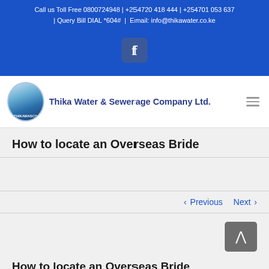Call us Toll Free 0800724948 | +254720 418 444 | +254701 053 637 | Query Bill DIAL *604# | Email: info@thikawater.co.ke
[Figure (logo): Facebook icon (f) in a rounded square on blue background]
[Figure (logo): Thika Water & Sewerage Company Ltd. logo with circular emblem and company name]
How to locate an Overseas Bride
< Previous   Next >
How to locate an Overseas Bride